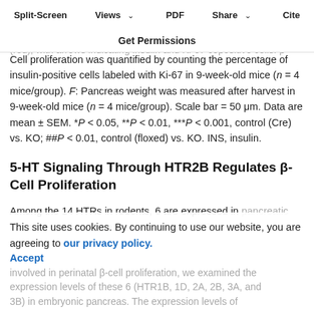Split-Screen | Views | PDF | Share | Cite | Get Permissions
mass was quantified as the percentage of insulin-positive area over pancreas. C: 9-week-old mice (n = 4 mice/group). E: Immunofluorescent staining labeled insulin (green) and Ki-67 (red), with arrows indicating insulin and Ki-67 copositive cells. β-Cell proliferation was quantified by counting the percentage of insulin-positive cells labeled with Ki-67 in 9-week-old mice (n = 4 mice/group). F: Pancreas weight was measured after harvest in 9-week-old mice (n = 4 mice/group). Scale bar = 50 μm. Data are mean ± SEM. *P < 0.05, **P < 0.01, ***P < 0.001, control (Cre) vs. KO; ##P < 0.01, control (floxed) vs. KO. INS, insulin.
5-HT Signaling Through HTR2B Regulates β-Cell Proliferation
Among the 14 HTRs in rodents, 6 are expressed in pancreatic islets (6). To determine the downstream HTRs involved in perinatal β-cell proliferation, we examined the expression levels of these 6 (HTR1B, 1D, 2A, 2B, 3A, and 3B) in embryonic pancreas. The expression levels of